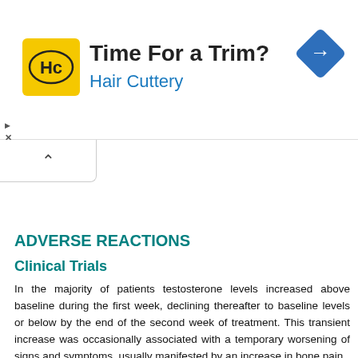[Figure (screenshot): Advertisement banner for Hair Cuttery with logo, text 'Time For a Trim? Hair Cuttery', and a blue navigation arrow icon on the right.]
ADVERSE REACTIONS
Clinical Trials
In the majority of patients testosterone levels increased above baseline during the first week, declining thereafter to baseline levels or below by the end of the second week of treatment. This transient increase was occasionally associated with a temporary worsening of signs and symptoms, usually manifested by an increase in bone pain.